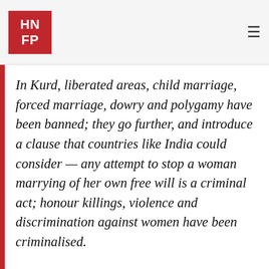HNFP
In Kurd, liberated areas, child marriage, forced marriage, dowry and polygamy have been banned; they go further, and introduce a clause that countries like India could consider — any attempt to stop a woman marrying of her own free will is a criminal act; honour killings, violence and discrimination against women have been criminalised.